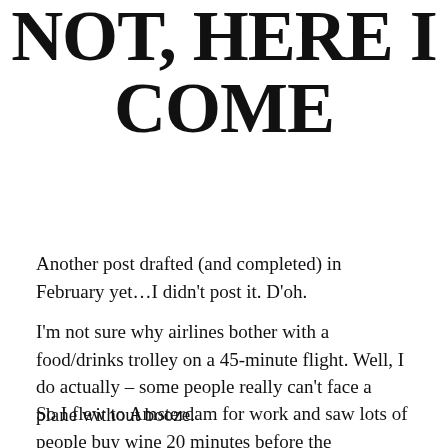NOT, HERE I COME
Another post drafted (and completed) in February yet...I didn't post it. D'oh.
I'm not sure why airlines bother with a food/drinks trolley on a 45-minute flight. Well, I do actually – some people really can't face a plane without booze.
So I flew to Amsterdam for work and saw lots of people buy wine 20 minutes before the